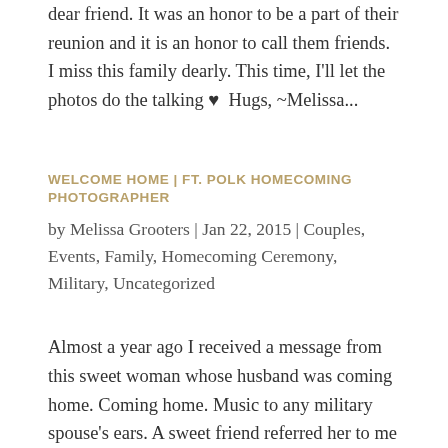dear friend. It was an honor to be a part of their reunion and it is an honor to call them friends. I miss this family dearly. This time, I'll let the photos do the talking ♥  Hugs, ~Melissa...
WELCOME HOME | FT. POLK HOMECOMING PHOTOGRAPHER
by Melissa Grooters | Jan 22, 2015 | Couples, Events, Family, Homecoming Ceremony, Military, Uncategorized
Almost a year ago I received a message from this sweet woman whose husband was coming home. Coming home. Music to any military spouse's ears. A sweet friend referred her to me and after speaking with